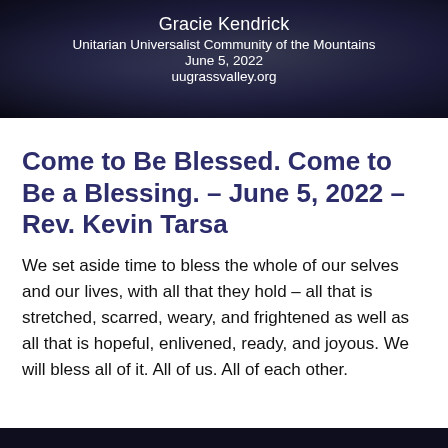[Figure (photo): Dark banner header image with abstract smoky/fluid background in dark navy/black tones, containing centered white text: 'Gracie Kendrick', 'Unitarian Universalist Community of the Mountains', 'June 5, 2022', 'uugrassvalley.org']
Come to Be Blessed. Come to Be a Blessing. – June 5, 2022 – Rev. Kevin Tarsa
We set aside time to bless the whole of our selves and our lives, with all that they hold – all that is stretched, scarred, weary, and frightened as well as all that is hopeful, enlivened, ready, and joyous. We will bless all of it. All of us. All of each other.